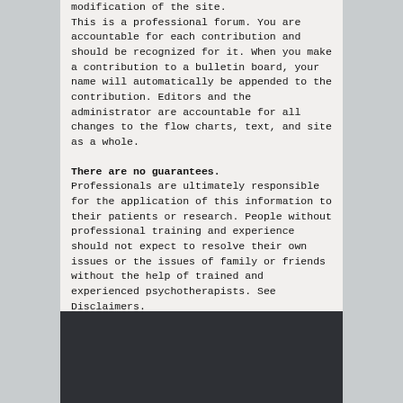modification of the site. This is a professional forum. You are accountable for each contribution and should be recognized for it. When you make a contribution to a bulletin board, your name will automatically be appended to the contribution. Editors and the administrator are accountable for all changes to the flow charts, text, and site as a whole.
There are no guarantees.
Professionals are ultimately responsible for the application of this information to their patients or research. People without professional training and experience should not expect to resolve their own issues or the issues of family or friends without the help of trained and experienced psychotherapists. See Disclaimers.